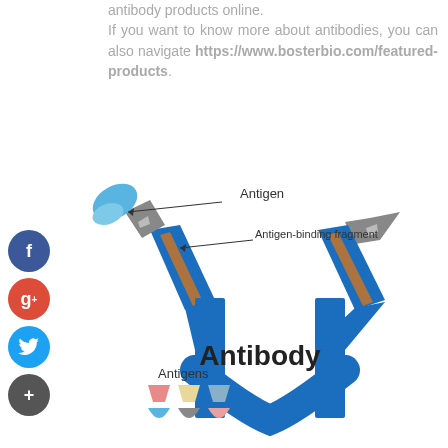antibody products online. If you want to know more about antibodies, you can also navigate https://www.bosterbio.com/featured-products.
[Figure (illustration): Diagram of an antibody structure showing the Y-shaped antibody in blue with gray antigen-binding fragments at the tips of each arm, orange accents on the arms, a blue antigen attached to the left binding site with a label 'Antigen', labels for 'Antigen-binding fragment' with arrows pointing to the binding sites, the text 'Antibody' in the center, and a legend of 6 colored antigen shapes (pink, yellow, blue-gray top row; light blue, gray, pink bottom row) labeled 'Antigens' at the bottom left.]